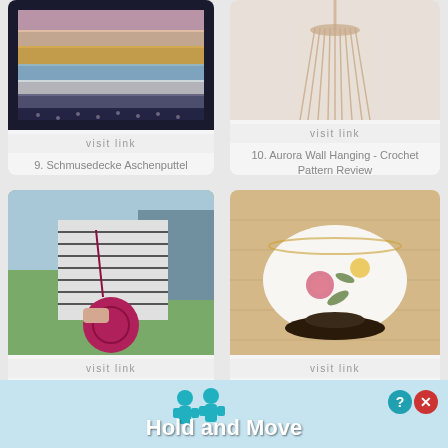[Figure (photo): Crochet blanket with colorful stripes in pink, yellow, blue, and white with lace edge on dark background]
visit link
9. Schmusedecke Aschenputtel ★kostenlose Anleitung★
[Figure (photo): Macrame or crochet wall hanging with long fringe tassels on white/beige background]
visit link
10. Aurora Wall Hanging - Crochet Pattern Review
[Figure (photo): Person wearing striped shirt holding a round magenta/fuchsia crocheted crossbody bag outdoors]
visit link
[Figure (photo): White porcelain bowl with floral pattern sitting on a dark wooden stand on light wood surface]
visit link
11. Crocheted Crossbody B...
12. A porcelain serving B...
[Figure (screenshot): Advertisement banner: Hold and Move app ad with teal figure icons, question mark and X buttons]